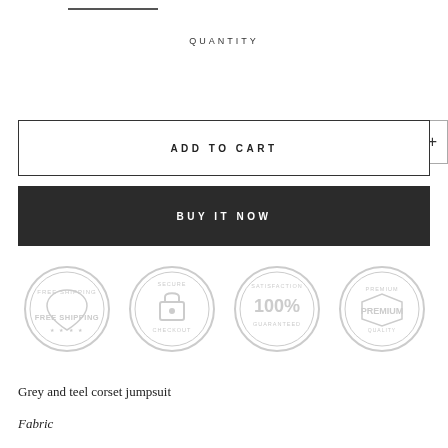QUANTITY
[Figure (other): Quantity selector with minus button, number 1, and plus button inside a rectangular border]
ADD TO CART
BUY IT NOW
[Figure (infographic): Four circular trust badge stamps: FREE SHIPPING, Secure (padlock icon), 100% GUARANTEED, PREMIUM]
Grey and teel corset jumpsuit
Fabric